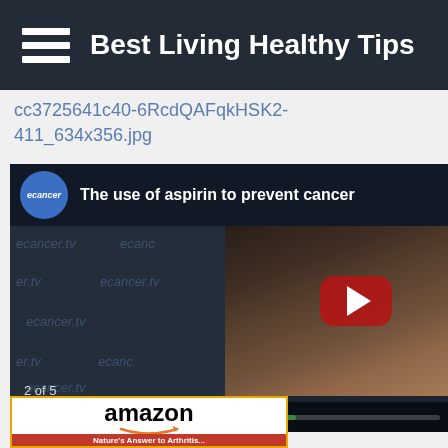Best Living Healthy Tips
cc3725641c40-6RcdQAFqkHSK2-411_634x356.jpg
[Figure (screenshot): Video thumbnail for 'The use of aspirin to prevent cancer' from ecancer.tv, showing a YouTube-style player with the ecancer logo, a person presenting, ecancer.tv watermarks, a YouTube play button, and progress controls showing '2 of 5']
[Figure (logo): Amazon advertisement with yellow-orange border, amazon logo with smile arrow, and red banner at bottom]